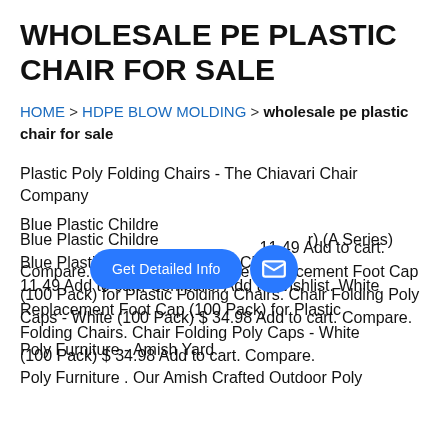WHOLESALE PE PLASTIC CHAIR FOR SALE
HOME > HDPE BLOW MOLDING > wholesale pe plastic chair for sale
Plastic Poly Folding Chairs - The Chiavari Chair Company
Blue Plastic Children's Folding Chair (A Series) Blue Plastic Children's Folding Chair $ 11.49 Add to cart. Compare. Add to Wishlist. White Replacement Foot Cap (100 Pack) for Plastic Folding Chairs. Chair Folding Poly Caps - White (100 Pack) $ 34.98 Add to cart. Compare.
Poly Furniture - Amish Yard
Poly Furniture . Our Amish Crafted Outdoor Poly